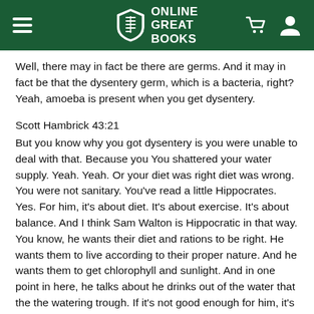Online Great Books
Well, there may in fact be there are germs. And it may in fact be that the dysentery germ, which is a bacteria, right? Yeah, amoeba is present when you get dysentery.
Scott Hambrick 43:21
But you know why you got dysentery is you were unable to deal with that. Because you You shattered your water supply. Yeah. Yeah. Or your diet was right diet was wrong. You were not sanitary. You've read a little Hippocrates. Yes. For him, it's about diet. It's about exercise. It's about balance. And I think Sam Walton is Hippocratic in that way. You know, he wants their diet and rations to be right. He wants them to live according to their proper nature. And he wants them to get chlorophyll and sunlight. And in one point in here, he talks about he drinks out of the water that the the watering trough. If it's not good enough for him, it's not good enough for the cattle, any fingers that will make him harder anyway. Did you